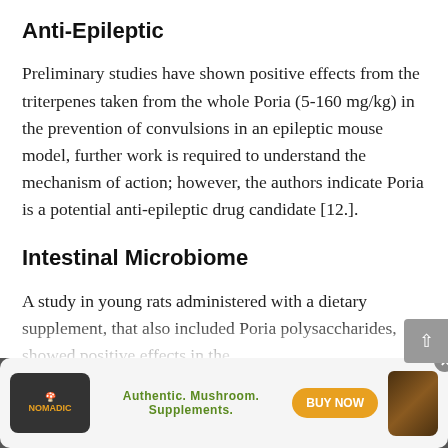Anti-Epileptic
Preliminary studies have shown positive effects from the triterpenes taken from the whole Poria (5-160 mg/kg) in the prevention of convulsions in an epileptic mouse model, further work is required to understand the mechanism of action; however, the authors indicate Poria is a potential anti-epileptic drug candidate [12.].
Intestinal Microbiome
A study in young rats administered with a dietary supplement, that also included Poria polysaccharides, showed positive effects in the promotion of...